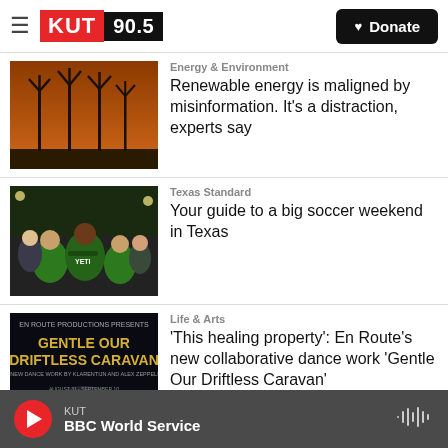KUT 90.5 | Donate
[Figure (screenshot): Wind turbines silhouetted against an orange sky]
Energy & Environment
Renewable energy is maligned by misinformation. It's a distraction, experts say
[Figure (photo): Soccer fans in green jerseys cheering]
Texas Standard
Your guide to a big soccer weekend in Texas
[Figure (photo): Poster for 'Gentle Our Driftless Caravan' dance show]
Life & Arts
'This healing property': En Route's new collaborative dance work 'Gentle Our Driftless Caravan'
KUT | BBC World Service